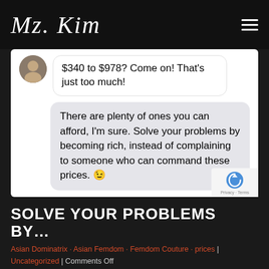Mz. Kim
[Figure (screenshot): Chat message screenshot showing two speech bubbles. Left bubble (white, from avatar user): '$340 to $978? Come on! That’s just too much!' Right bubble (gray, outgoing): 'There are plenty of ones you can afford, I’m sure. Solve your problems by becoming rich, instead of complaining to someone who can command these prices. 😉']
SOLVE YOUR PROBLEMS BY...
Asian Dominatrix · Asian Femdom · Femdom Couture · prices | Uncategorized | Comments Off
Learn more about how and why this exclusive